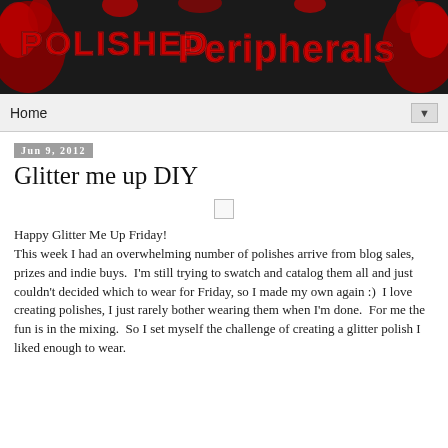[Figure (logo): Polished Peripherals blog header banner with red metallic 3D text on dark background with decorative elements]
Home ▼
Jun 9, 2012
Glitter me up DIY
Happy Glitter Me Up Friday!
This week I had an overwhelming number of polishes arrive from blog sales, prizes and indie buys.  I'm still trying to swatch and catalog them all and just couldn't decided which to wear for Friday, so I made my own again :)  I love creating polishes, I just rarely bother wearing them when I'm done.  For me the fun is in the mixing.  So I set myself the challenge of creating a glitter polish I liked enough to wear.